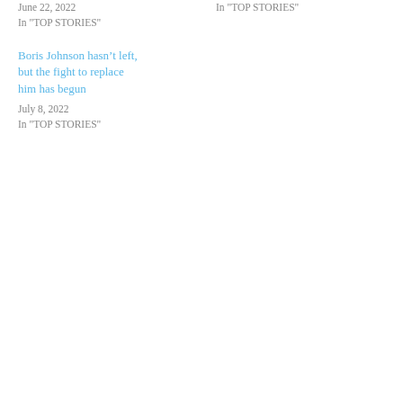June 22, 2022
In "TOP STORIES"
In "TOP STORIES"
Boris Johnson hasn’t left, but the fight to replace him has begun
July 8, 2022
In "TOP STORIES"